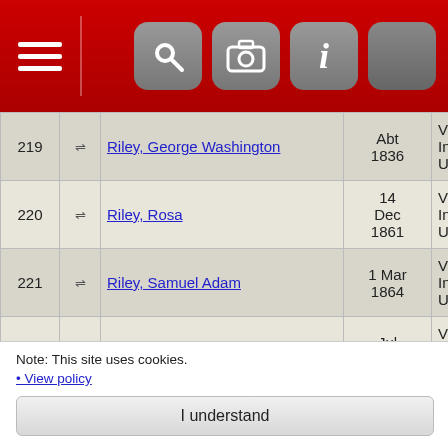Navigation header with hamburger menu and icons
| # |  | Name | Date | Place | ID |
| --- | --- | --- | --- | --- | --- |
| 219 | ⇌ | Riley, George Washington | Abt 1836 | Vigo, Indiana, USA | I1385 |
| 220 | ⇌ | Riley, Rosa | 14 Dec 1861 | Vigo, Indiana, USA | I1464 |
| 221 | ⇌ | Riley, Samuel Adam | 1 Mar 1864 | Vigo, Indiana, USA | I1459 |
| 222 | ⇌ | Roberts, Arnold | Jul 1888 | Vigo, Indiana, USA | I9886 |
| 223 | ⇌ | Roberts, Augustus Sumner | 31 May 1881 | Vigo, Indiana, USA | I3903 |
| 224 | ⇌ | Roberts, Benjamin | 1868 | Vigo, Indiana, USA | I3911 |
Note: This site uses cookies.
• View policy
I understand